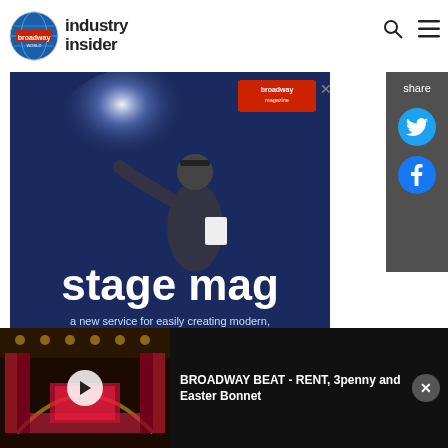[Figure (logo): Broadway World Industry Insider logo with globe icon]
[Figure (screenshot): Stage Mag advertisement: person on stage holding script, blue background, text 'stage mag' and 'a new service for easily creating modern,']
[Figure (screenshot): Share panel with Twitter and Facebook icons]
[Figure (screenshot): Video thumbnail of theater stage with play button]
BROADWAY BEAT - RENT, 3penny and Easter Bonnet